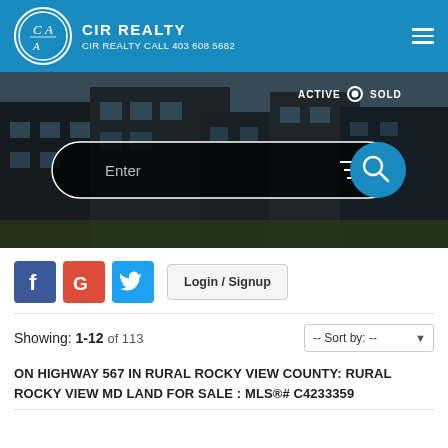CIR REALTY | CIR REALTY CALL 403 608 5682
[Figure (screenshot): Hero image of modern houses with dark overlay, search bar with Enter placeholder, Active/Sold toggle, and filter/search button]
f G Twitter icon buttons | Login / Signup
Showing: 1-12 of 113  -- Sort by: --
ON HIGHWAY 567 IN RURAL ROCKY VIEW COUNTY: RURAL ROCKY VIEW MD LAND FOR SALE : MLS®# C4233359